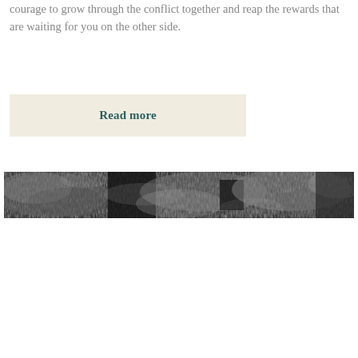courage to grow through the conflict together and reap the rewards that are waiting for you on the other side.
Read more
[Figure (photo): A black and white panoramic photograph with dark, smoky or cloudy textures, resembling abstract smoke or mist.]